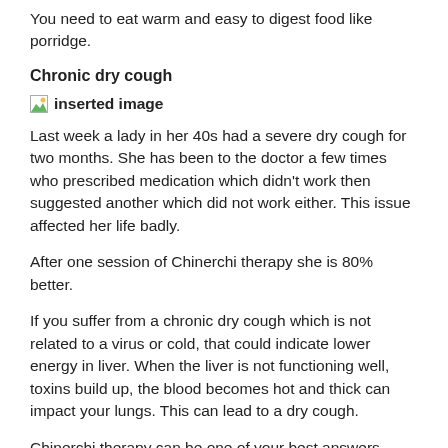You need to eat warm and easy to digest food like porridge.
Chronic dry cough
[Figure (photo): Inserted image placeholder with broken image icon and bold text 'inserted image']
Last week a lady in her 40s had a severe dry cough for two months. She has been to the doctor a few times who prescribed medication which didn't work then suggested another which did not work either. This issue affected her life badly.
After one session of Chinerchi therapy she is 80% better.
If you suffer from a chronic dry cough which is not related to a virus or cold, that could indicate lower energy in liver. When the liver is not functioning well, toxins build up, the blood becomes hot and thick can impact your lungs. This can lead to a dry cough.
Chinerchi therapy can be one of your best answers.
If you...